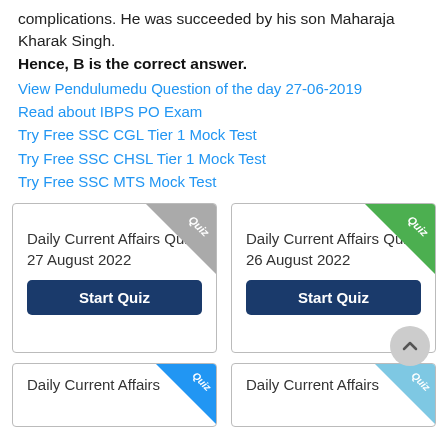complications. He was succeeded by his son Maharaja Kharak Singh.
Hence, B is the correct answer.
View Pendulumedu Question of the day 27-06-2019
Read about IBPS PO Exam
Try Free SSC CGL Tier 1 Mock Test
Try Free SSC CHSL Tier 1 Mock Test
Try Free SSC MTS Mock Test
[Figure (screenshot): Quiz card: Daily Current Affairs Quiz 27 August 2022 with gray corner ribbon and Start Quiz button]
[Figure (screenshot): Quiz card: Daily Current Affairs Quiz 26 August 2022 with green corner ribbon and Start Quiz button]
[Figure (screenshot): Partial quiz card bottom row left with blue corner ribbon, Daily Current Affairs]
[Figure (screenshot): Partial quiz card bottom row right with light blue corner ribbon, Daily Current Affairs]